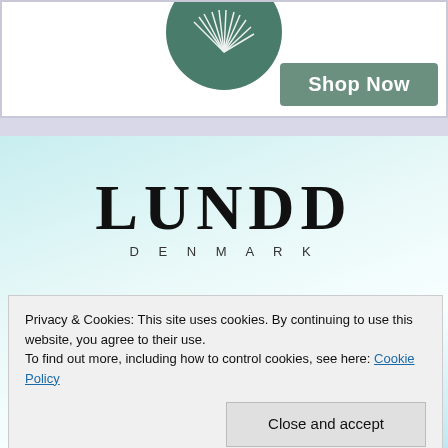[Figure (logo): Green circular logo with white leaf/feather design, partially cropped at top]
Shop Now
[Figure (logo): LUNDD DENMARK brand logo with large serif bold letters and DENMARK in spaced caps beneath, on a light blue-green gradient background with silver jewelry pieces partially visible]
Privacy & Cookies: This site uses cookies. By continuing to use this website, you agree to their use.
To find out more, including how to control cookies, see here: Cookie Policy
Close and accept